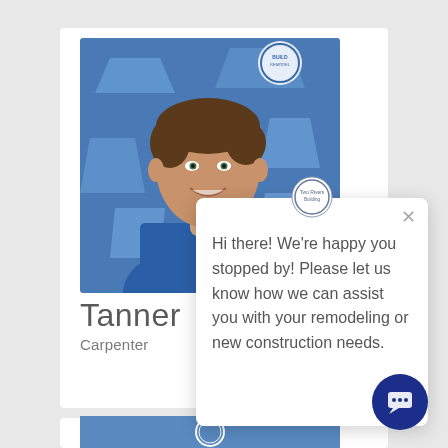[Figure (photo): Portrait photo of a young man named Tanner wearing a blue shirt, smiling, with a blue geometric patterned background and a circular logo/badge visible]
Tanner
Carpenter
[Figure (screenshot): Chat popup widget with company logo, close X button, and message: Hi there! We're happy you stopped by! Please let us know how we can assist you with your remodeling or new construction needs.]
Hi there! We're happy you stopped by! Please let us know how we can assist you with your remodeling or new construction needs.